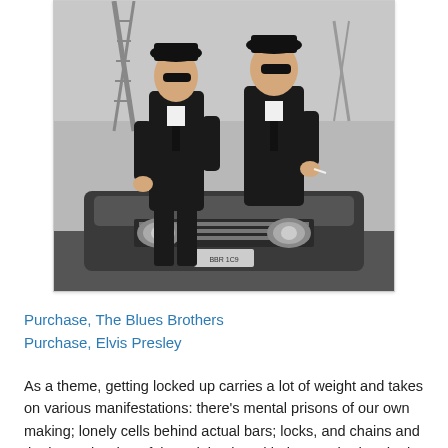[Figure (photo): Black and white photograph of two men in dark suits and ties seated on the hood of a car, with industrial structures visible in the background.]
Purchase, The Blues Brothers
Purchase, Elvis Presley
As a theme, getting locked up carries a lot of weight and takes on various manifestations: there's mental prisons of our own making; lonely cells behind actual bars; locks, and chains and the heavy burden of time, doing it and being crushed under it.